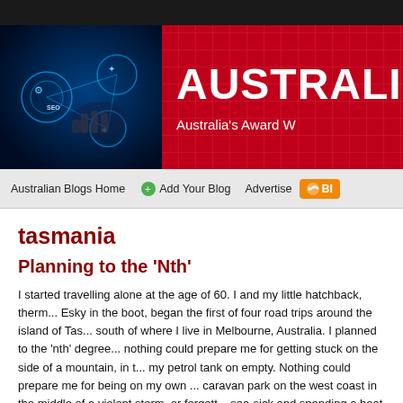[Figure (illustration): Website header banner with SEO tech image on left and red background with AUSTRALIA text and Australia's Award W... tagline on right]
Australian Blogs Home   Add Your Blog   Advertise   Bl...
tasmania
Planning to the 'Nth'
I started travelling alone at the age of 60. I and my little hatchback, therm... Esky in the boot, began the first of four road trips around the island of Tas... south of where I live in Melbourne, Australia. I planned to the 'nth' degree... nothing could prepare me for getting stuck on the side of a mountain, in t... my petrol tank on empty. Nothing could prepare me for being on my own ... caravan park on the west coast in the middle of a violent storm, or forgett... sea-sick and spending a boat trip around Tasman Island with my head in... bucket.